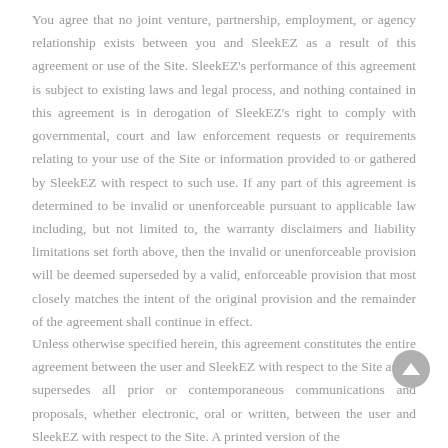You agree that no joint venture, partnership, employment, or agency relationship exists between you and SleekEZ as a result of this agreement or use of the Site. SleekEZ's performance of this agreement is subject to existing laws and legal process, and nothing contained in this agreement is in derogation of SleekEZ's right to comply with governmental, court and law enforcement requests or requirements relating to your use of the Site or information provided to or gathered by SleekEZ with respect to such use. If any part of this agreement is determined to be invalid or unenforceable pursuant to applicable law including, but not limited to, the warranty disclaimers and liability limitations set forth above, then the invalid or unenforceable provision will be deemed superseded by a valid, enforceable provision that most closely matches the intent of the original provision and the remainder of the agreement shall continue in effect.
Unless otherwise specified herein, this agreement constitutes the entire agreement between the user and SleekEZ with respect to the Site and it supersedes all prior or contemporaneous communications and proposals, whether electronic, oral or written, between the user and SleekEZ with respect to the Site. A printed version of the